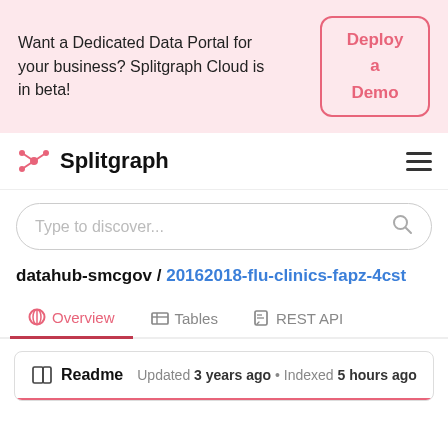Want a Dedicated Data Portal for your business? Splitgraph Cloud is in beta!
Deploy a Demo
Splitgraph
Type to discover...
datahub-smcgov / 20162018-flu-clinics-fapz-4cst
Overview
Tables
REST API
Readme   Updated 3 years ago • Indexed 5 hours ago